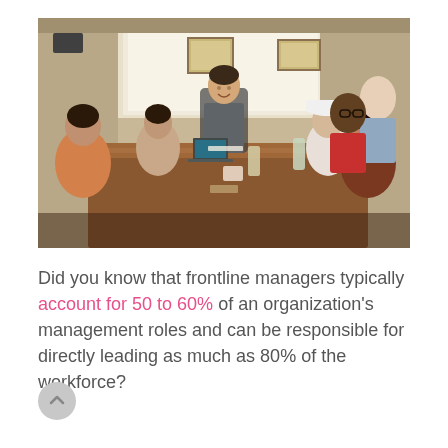[Figure (photo): A group of diverse people sitting around a conference table in a meeting room. A person at the head of the table appears to be leading the meeting, with framed pictures on the wall behind and a large window letting in light.]
Did you know that frontline managers typically account for 50 to 60% of an organization's management roles and can be responsible for directly leading as much as 80% of the workforce?